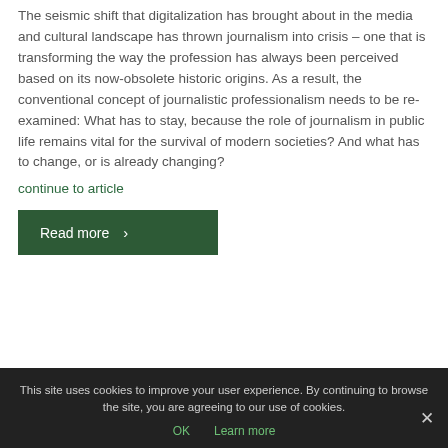The seismic shift that digitalization has brought about in the media and cultural landscape has thrown journalism into crisis – one that is transforming the way the profession has always been perceived based on its now-obsolete historic origins. As a result, the conventional concept of journalistic professionalism needs to be re-examined: What has to stay, because the role of journalism in public life remains vital for the survival of modern societies? And what has to change, or is already changing?
continue to article
Read more ›
This site uses cookies to improve your user experience. By continuing to browse the site, you are agreeing to our use of cookies.
OK   Learn more